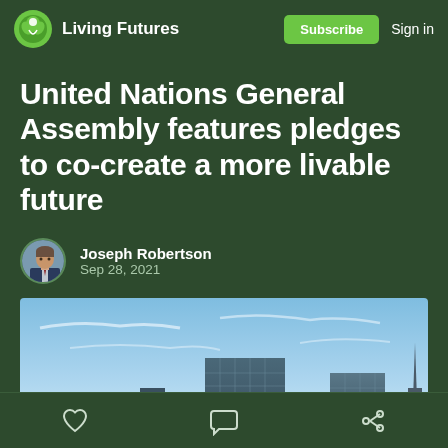Living Futures | Subscribe  Sign in
United Nations General Assembly features pledges to co-create a more livable future
Joseph Robertson
Sep 28, 2021
[Figure (photo): Photograph of the United Nations headquarters building and surrounding skyscrapers against a blue sky with wispy clouds.]